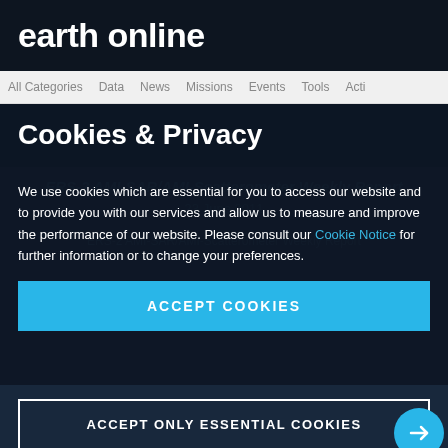earth online
All Categories   Data   News   Missions   Events   Tools   Acti
Cookies & Privacy
We use cookies which are essential for you to access our website and to provide you with our services and allow us to measure and improve the performance of our website. Please consult our Cookie Notice for further information or to change your preferences.
ACCEPT COOKIES
ACCEPT ONLY ESSENTIAL COOKIES